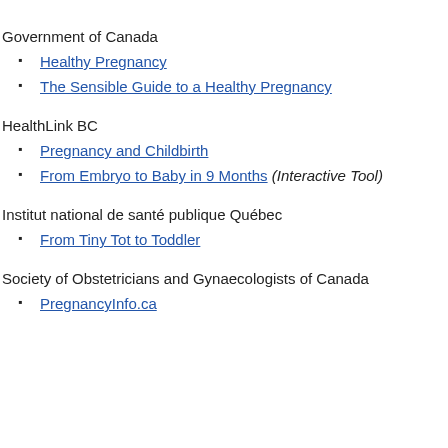Government of Canada
Healthy Pregnancy
The Sensible Guide to a Healthy Pregnancy
HealthLink BC
Pregnancy and Childbirth
From Embryo to Baby in 9 Months (Interactive Tool)
Institut national de santé publique Québec
From Tiny Tot to Toddler
Society of Obstetricians and Gynaecologists of Canada
PregnancyInfo.ca